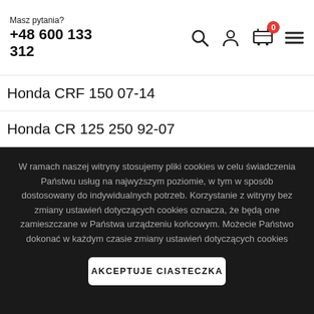Masz pytania? +48 600 133 312
Honda CRF 150 07-14
Honda CR 125 250 92-07
Honda CRFX 250 450 04-14
Honda CRF 250 450 02-06
Honda CR 500 R... 86-01
W ramach naszej witryny stosujemy pliki cookies w celu świadczenia Państwu usług na najwyższym poziomie, w tym w sposób dostosowany do indywidualnych potrzeb. Korzystanie z witryny bez zmiany ustawień dotyczących cookies oznacza, że będą one zamieszczane w Państwa urządzeniu końcowym. Możecie Państwo dokonać w każdym czasie zmiany ustawień dotyczących cookies
AKCEPTUJE CIASTECZKA